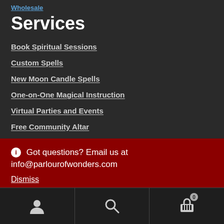Wholesale
Services
Book Spiritual Sessions
Custom Spells
New Moon Candle Spells
One-on-One Magical Instruction
Virtual Parties and Events
Free Community Altar
Got questions? Email us at info@parlourofwonders.com
Dismiss
[Figure (other): Bottom navigation bar with user account icon, search icon, and shopping cart icon with badge showing 0]